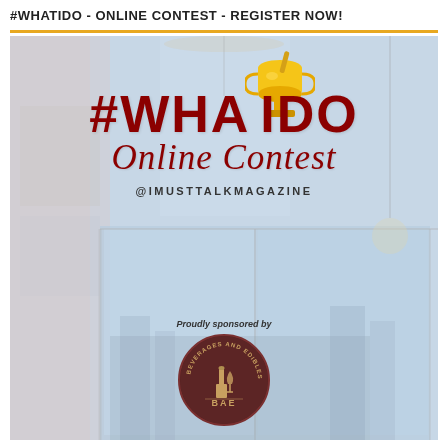#WHATIDO - ONLINE CONTEST - REGISTER NOW!
[Figure (illustration): Promotional graphic for #WHATIDO Online Contest by @IMUSTTALKMAGAZINE. Dark red bold hashtag text '#WHATIDO' with a gold trophy icon above, italic script 'Online Contest' below, '@IMUSTTALKMAGAZINE' handle, on a blurred office background. Bottom shows 'Proudly sponsored by' with a circular 'BEVERAGES AND EDIBLES BAE' dark brown logo.]